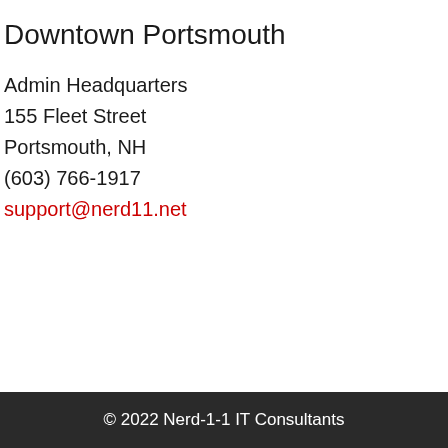Downtown Portsmouth
Admin Headquarters
155 Fleet Street
Portsmouth, NH
(603) 766-1917
support@nerd11.net
© 2022 Nerd-1-1 IT Consultants